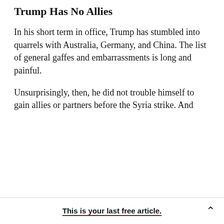Trump Has No Allies
In his short term in office, Trump has stumbled into quarrels with Australia, Germany, and China. The list of general gaffes and embarrassments is long and painful.
Unsurprisingly, then, he did not trouble himself to gain allies or partners before the Syria strike. And while Trump has gained some after-the-fact backing from Canada and the United Kingdom, the French and German response has been notably tepid. Germany called the American act “understandable,” but withheld any endorsement
This is your last free article.